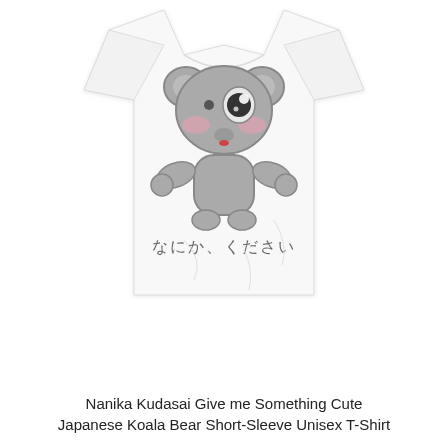[Figure (photo): A white short-sleeve unisex t-shirt displayed flat, featuring a cute cartoon koala bear graphic in gray with rosy pink cheeks, a large eye, and a small red mouth, reaching its arms out. Below the koala illustration is text in Japanese hiragana reading 'なにか、ください'.]
Nanika Kudasai Give me Something Cute Japanese Koala Bear Short-Sleeve Unisex T-Shirt